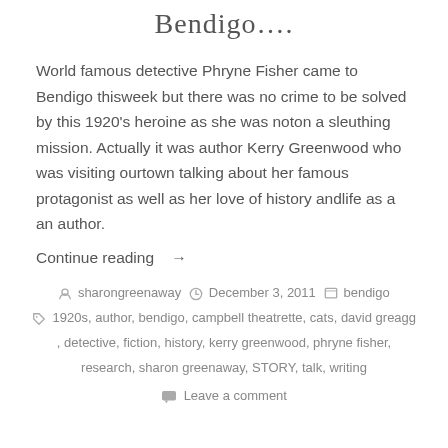Bendigo….
World famous detective Phryne Fisher came to Bendigo thisweek but there was no crime to be solved by this 1920's heroine as she was noton a sleuthing mission. Actually it was author Kerry Greenwood who was visiting ourtown talking about her famous protagonist as well as her love of history andlife as a an author.
Continue reading →
sharongreenaway   December 3, 2011   bendigo
1920s, author, bendigo, campbell theatrette, cats, david greagg , detective, fiction, history, kerry greenwood, phryne fisher, research, sharon greenaway, STORY, talk, writing
Leave a comment